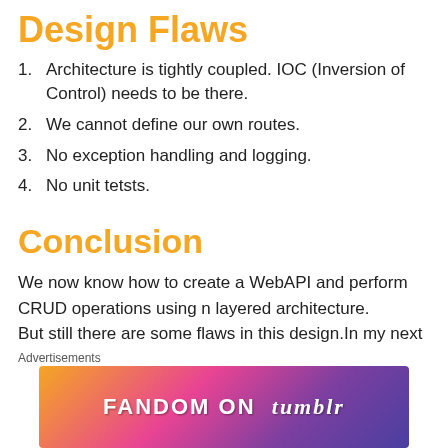Design Flaws
Architecture is tightly coupled. IOC (Inversion of Control) needs to be there.
We cannot define our own routes.
No exception handling and logging.
No unit tetsts.
Conclusion
We now know how to create a WebAPI and perform CRUD operations using n layered architecture.
But still there are some flaws in this design.In my next two articles I'll explain how to make the system loosely coupled using Dependency Injection Principle. We'll also cover all the
Advertisements
[Figure (illustration): FANDOM ON tumblr advertisement banner with colorful gradient background]